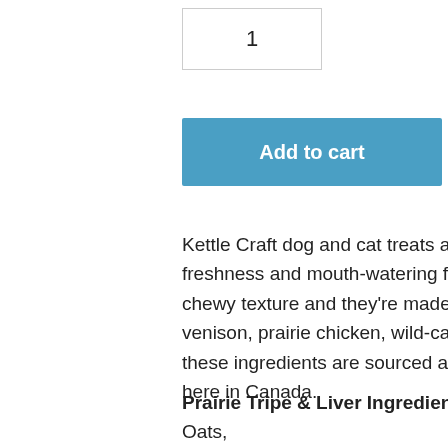1
Add to cart
Kettle Craft dog and cat treats are kettle cooked in small batches to ensure freshness and mouth-watering flavour in every bite. Kettle Craft treats have a soft, chewy texture and they're made with natural, wholesome ingredients such as real venison, prairie chicken, wild-caught Pacific salmon, and Okanagan apples. All of these ingredients are sourced and the treats themselves are handcrafted right here in Canada.
Prairie Tripe & Liver Ingredients: Fresh Ground Pork Liver, Ground Steel Cut Oats,